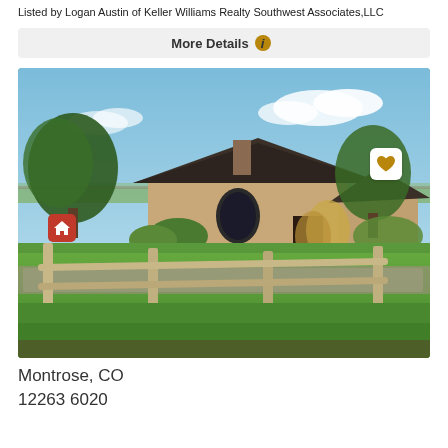Listed by Logan Austin of Keller Williams Realty Southwest Associates,LLC
More Details
[Figure (photo): Exterior photo of a ranch-style brick home with a dark roof, surrounded by green grass, ornamental grasses, shrubs, and a split-rail wooden fence in the foreground. Blue sky with clouds in the background. A small red house icon appears in the lower-left corner of the photo and a white heart button in the upper-right.]
Montrose, CO
12263 6020